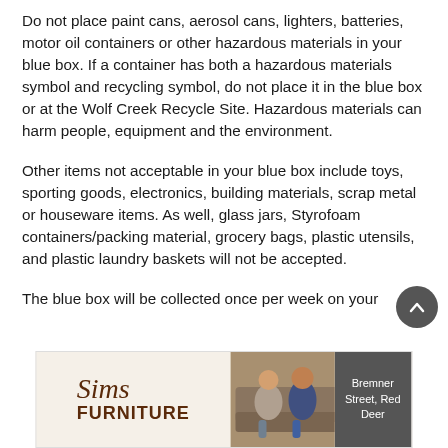Do not place paint cans, aerosol cans, lighters, batteries, motor oil containers or other hazardous materials in your blue box. If a container has both a hazardous materials symbol and recycling symbol, do not place it in the blue box or at the Wolf Creek Recycle Site. Hazardous materials can harm people, equipment and the environment.
Other items not acceptable in your blue box include toys, sporting goods, electronics, building materials, scrap metal or houseware items. As well, glass jars, Styrofoam containers/packing material, grocery bags, plastic utensils, and plastic laundry baskets will not be accepted.
The blue box will be collected once per week on your
[Figure (other): Advertisement for Sims Furniture with logo, photo of people on a couch, and address: Bremner Street, Red Deer]